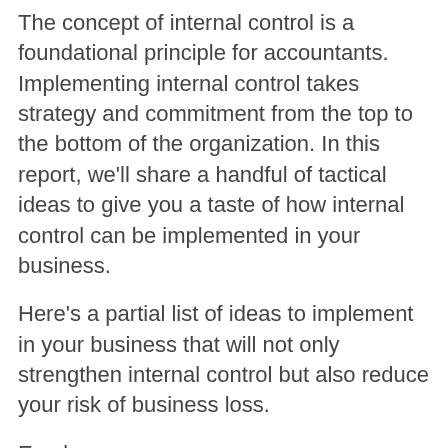The concept of internal control is a foundational principle for accountants. Implementing internal control takes strategy and commitment from the top to the bottom of the organization. In this report, we’ll share a handful of tactical ideas to give you a taste of how internal control can be implemented in your business.
Here’s a partial list of ideas to implement in your business that will not only strengthen internal control but also reduce your risk of business loss.
Employee
Run background checks on all job candidates before hiring.
Ensure employees will be handling...